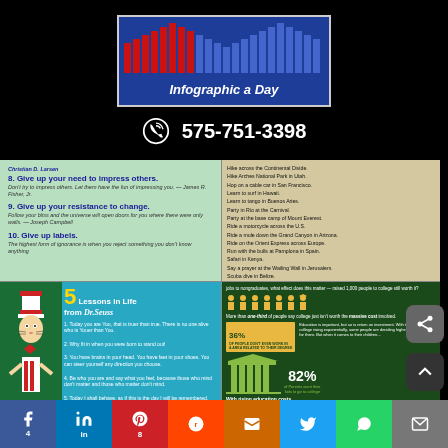[Figure (logo): Infographic a Day logo with red/blue bar chart bars on blue background]
575-751-3398
[Figure (infographic): Numbered list items 8-10: Give up your need to impress others, Give up your resistance to change, Give up labels - by Christian D. Larsen]
[Figure (infographic): Bucket list items including hiking, traveling, cultural experiences]
[Figure (infographic): 5 Lessons in Life from Dr. Seuss with Dr. Seuss character illustration]
[Figure (infographic): Student loans infographic with statistics about college worth and 82% of parents wanting kids to go to college]
4  in  8  (reddit) (mix) (twitter) (whatsapp) (email)